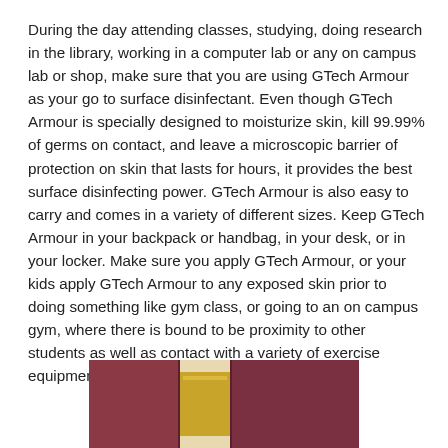During the day attending classes, studying, doing research in the library, working in a computer lab or any on campus lab or shop, make sure that you are using GTech Armour as your go to surface disinfectant. Even though GTech Armour is specially designed to moisturize skin, kill 99.99% of germs on contact, and leave a microscopic barrier of protection on skin that lasts for hours, it provides the best surface disinfecting power. GTech Armour is also easy to carry and comes in a variety of different sizes. Keep GTech Armour in your backpack or handbag, in your desk, or in your locker. Make sure you apply GTech Armour, or your kids apply GTech Armour to any exposed skin prior to doing something like gym class, or going to an on campus gym, where there is bound to be proximity to other students as well as contact with a variety of exercise equipment.
[Figure (photo): Photo of GTech Armour product — reddish-brown packaging with gold/yellow label strip, partially visible at bottom of page]